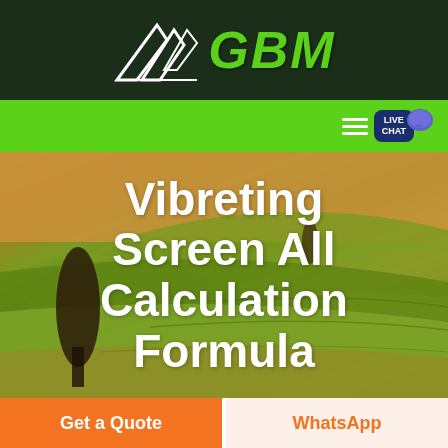GBM
[Figure (screenshot): Green navigation bar with hamburger menu icon and LIVE CHAT button with chat bubble icon]
[Figure (photo): Aerial view of rolling agricultural green fields with a dark tree silhouette on the left side, warm golden-orange tones on upper portions]
Vibreting Screen All Calculation Formula
Get a Quote
WhatsApp